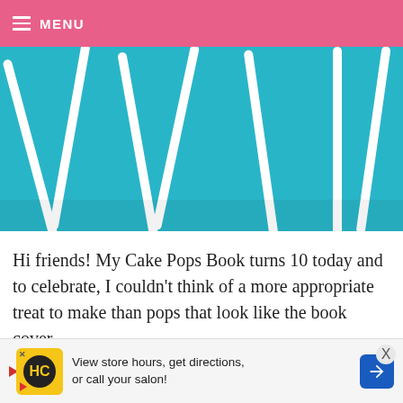MENU
[Figure (photo): White cake pop sticks arranged in a V and line pattern on a teal/turquoise background, photographed from above.]
Hi friends! My Cake Pops Book turns 10 today and to celebrate, I couldn't think of a more appropriate treat to make than pops that look like the book cover.
I can't believe it's been more than a decade of sharing these tiny treats with you guys and now
[Figure (other): Advertisement banner: HC logo with yellow background, text 'View store hours, get directions, or call your salon!' with blue arrow navigation icon.]